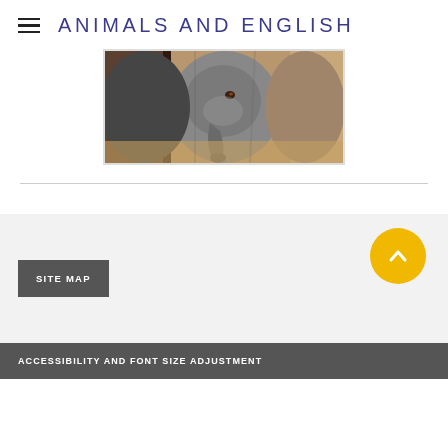ANIMALS AND ENGLISH
[Figure (photo): Close-up photograph of elephants, showing trunks and faces in a sandy enclosure]
[Figure (infographic): Yellow circular scroll-to-top button with upward chevron arrow]
SITE MAP
ACCESSIBILITY AND FONT SIZE ADJUSTMENT